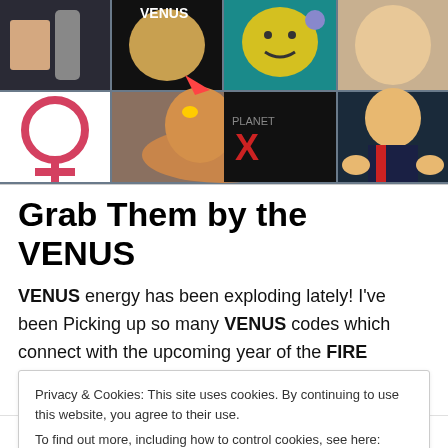[Figure (photo): Collage of images including Venus symbol, rooster, planet images, X marks, and a man giving thumbs up]
Grab Them by the VENUS
VENUS energy has been exploding lately! I've been Picking up so many VENUS codes which connect with the upcoming year of the FIRE ROOST★R. This post is a
Privacy & Cookies: This site uses cookies. By continuing to use this website, you agree to their use.
To find out more, including how to control cookies, see here: Cookie Policy
Close and accept
Follow ...